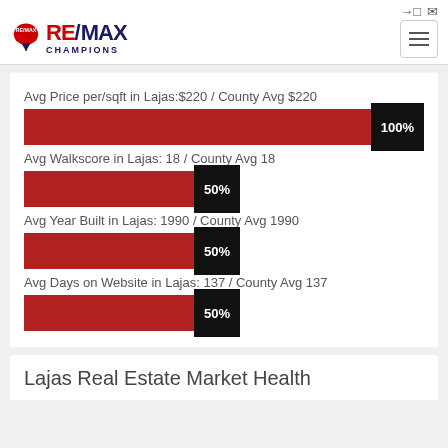[Figure (logo): RE/MAX Champions logo with balloon icon]
Avg Price per/sqft in Lajas:$220 / County Avg $220
[Figure (bar-chart): Avg Price per/sqft]
Avg Walkscore in Lajas: 18 / County Avg 18
[Figure (bar-chart): Avg Walkscore]
Avg Year Built in Lajas: 1990 / County Avg 1990
[Figure (bar-chart): Avg Year Built]
Avg Days on Website in Lajas: 137 / County Avg 137
[Figure (bar-chart): Avg Days on Website]
Lajas Real Estate Market Health